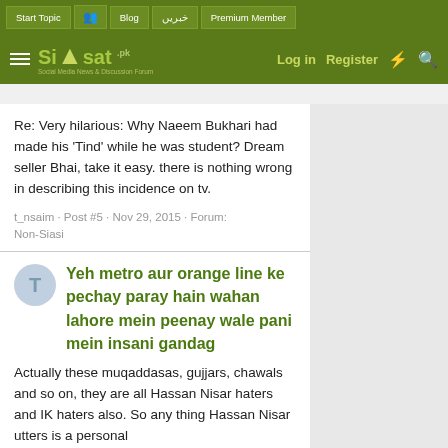Siasat.pk — Social Media News & Discussion Forum — navigation: Start Topic | Blog | خبریں | Premium Member | Log in | Register
Re: Very hilarious: Why Naeem Bukhari had made his 'Tind' while he was student? Dream seller Bhai, take it easy. there is nothing wrong in describing this incidence on tv.
t_nsaim · Post #5 · Nov 29, 2015 · Forum: Non-Siasi
Yeh metro aur orange line ke pechay paray hain wahan lahore mein peenay wale pani mein insani gandag
Actually these muqaddasas, gujjars, chawals and so on, they are all Hassan Nisar haters and IK haters also. So any thing Hassan Nisar utters is a personal